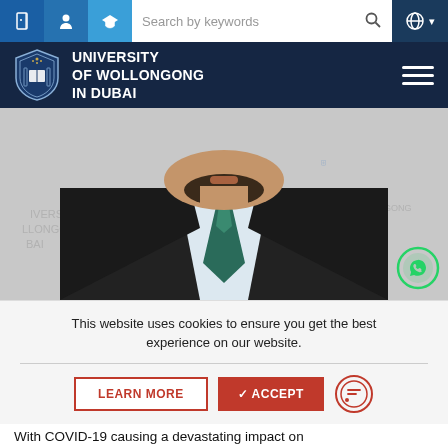[Figure (screenshot): University of Wollongong in Dubai website screenshot showing top navigation bar with icons and search field, logo bar with UOWD branding, a photo of a bearded man in a suit with a green tie against a UOWD branded backdrop, a cookie consent banner with LEARN MORE and ACCEPT buttons, and partial text at the bottom about COVID-19.]
UNIVERSITY OF WOLLONGONG IN DUBAI
This website uses cookies to ensure you get the best experience on our website.
With COVID-19 causing a devastating impact on